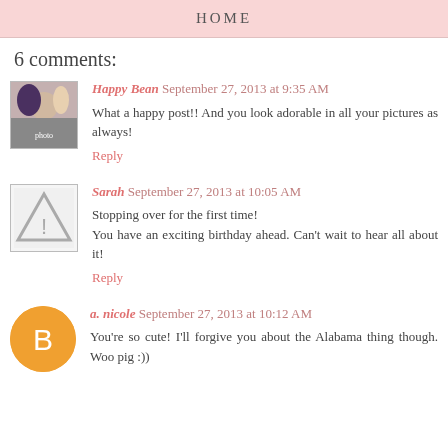HOME
6 comments:
Happy Bean  September 27, 2013 at 9:35 AM
What a happy post!! And you look adorable in all your pictures as always!
Reply
Sarah  September 27, 2013 at 10:05 AM
Stopping over for the first time!
You have an exciting birthday ahead. Can't wait to hear all about it!
Reply
a. nicole  September 27, 2013 at 10:12 AM
You're so cute! I'll forgive you about the Alabama thing though. Woo pig :))